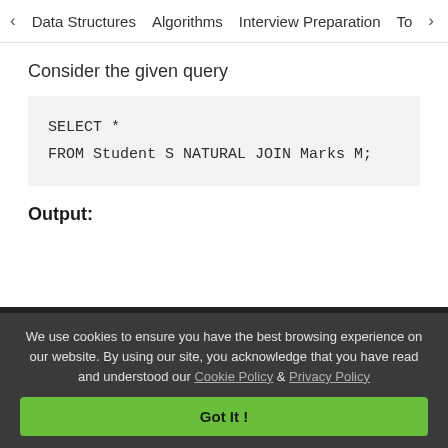< Data Structures   Algorithms   Interview Preparation   To>
Consider the given query
SELECT *
FROM Student S NATURAL JOIN Marks M;
Output:
We use cookies to ensure you have the best browsing experience on our website. By using our site, you acknowledge that you have read and understood our Cookie Policy & Privacy Policy
Got It !